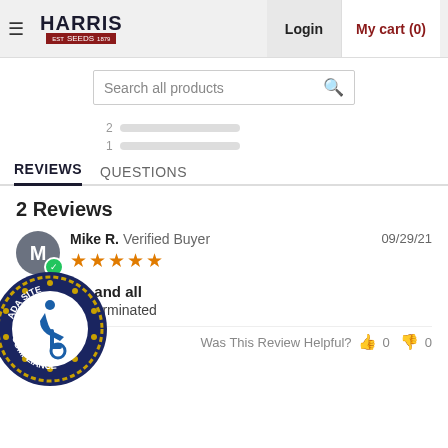Harris Seeds | Login | My cart (0)
Search all products
2
1
REVIEWS   QUESTIONS
2 Reviews
Mike R.  Verified Buyer   09/29/21
★★★★★
tried a few and all
few and all germinated
Share  |  Was This Review Helpful?  👍 0  👎 0